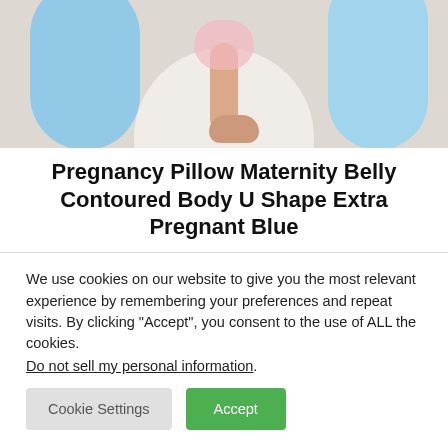[Figure (photo): Overhead view of a pregnant woman resting with a U-shaped blue maternity body pillow, bare feet visible, lying on a white surface.]
Pregnancy Pillow Maternity Belly Contoured Body U Shape Extra Pregnant Blue
We use cookies on our website to give you the most relevant experience by remembering your preferences and repeat visits. By clicking “Accept”, you consent to the use of ALL the cookies.
Do not sell my personal information.
Cookie Settings  Accept